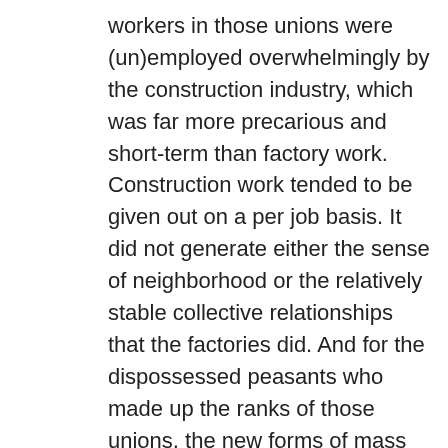workers in those unions were (un)employed overwhelmingly by the construction industry, which was far more precarious and short-term than factory work. Construction work tended to be given out on a per job basis. It did not generate either the sense of neighborhood or the relatively stable collective relationships that the factories did. And for the dispossessed peasants who made up the ranks of those unions, the new forms of mass construction hardly constituted skilled labor. In other words, work in the construction industry a hundred years ago was not so different from work in the service industry today, an industry that employs the vast majority of Barcelona's underemployed anarchists. Yet those